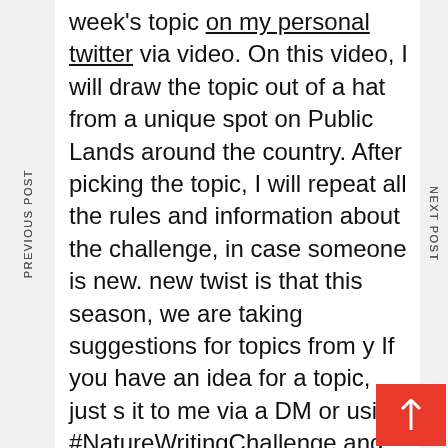week's topic on my personal twitter via video. On this video, I will draw the topic out of a hat from a unique spot on Public Lands around the country. After picking the topic, I will repeat all the rules and information about the challenge, in case someone is new. new twist is that this season, we are taking suggestions for topics from y If you have an idea for a topic, just s it to me via a DM or using #NatureWritingChallenge and I'll add it into the hat.
PREVIOUS POST
NEXT POST
How long do you have to w